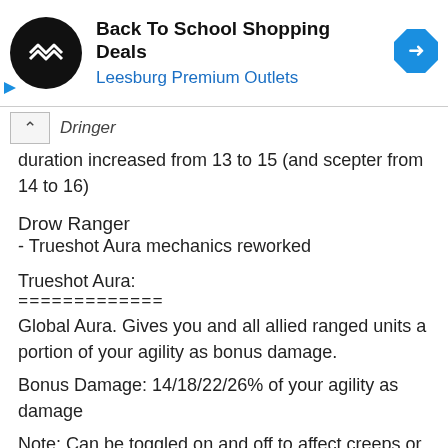[Figure (other): Advertisement banner for Leesburg Premium Outlets with logo, title 'Back To School Shopping Deals', subtitle 'Leesburg Premium Outlets', and a blue navigation/directions diamond icon.]
Dringer
duration increased from 13 to 15 (and scepter from 14 to 16)
Drow Ranger
- Trueshot Aura mechanics reworked
Trueshot Aura:
==============
Global Aura. Gives you and all allied ranged units a portion of your agility as bonus damage.
Bonus Damage: 14/18/22/26% of your agility as damage
Note: Can be toggled on and off to affect creeps or not
Ability Code: A2O2